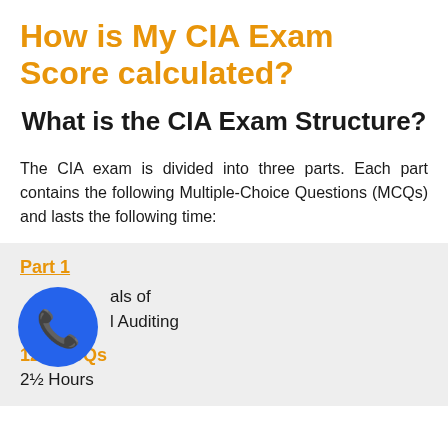How is My CIA Exam Score calculated?
What is the CIA Exam Structure?
The CIA exam is divided into three parts. Each part contains the following Multiple-Choice Questions (MCQs) and lasts the following time:
Part 1
Essentials of Internal Auditing
125 MCQs
2½ Hours